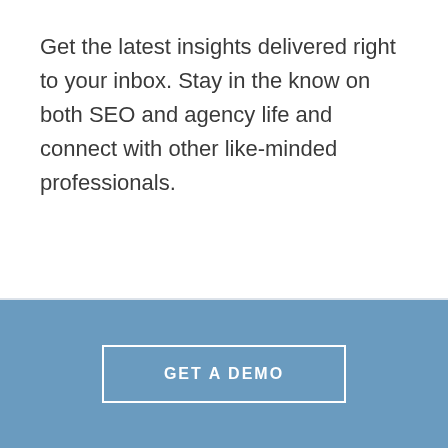Get the latest insights delivered right to your inbox. Stay in the know on both SEO and agency life and connect with other like-minded professionals.
GET A DEMO